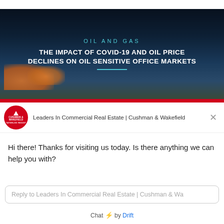[Figure (screenshot): Banner image for Cushman & Wakefield report titled 'Oil and Gas: The Impact of COVID-19 and Oil Price Declines on Oil Sensitive Office Markets' with dark sky and clouds background]
Leaders In Commercial Real Estate | Cushman & Wakefield
Hi there! Thanks for visiting us today. Is there anything we can help you with?
Reply to Leaders In Commercial Real Estate | Cushman & Wa
Chat ⚡ by Drift